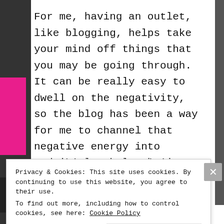For me, having an outlet, like blogging, helps take your mind off things that you may be going through. It can be really easy to dwell on the negativity, so the blog has been a way for me to channel that negative energy into something more positive and productive. Seeing that other people seem to enjoy what we do just helps to validate that for me.
And it also helps having someone like
Privacy & Cookies: This site uses cookies. By continuing to use this website, you agree to their use.
To find out more, including how to control cookies, see here: Cookie Policy
Close and accept